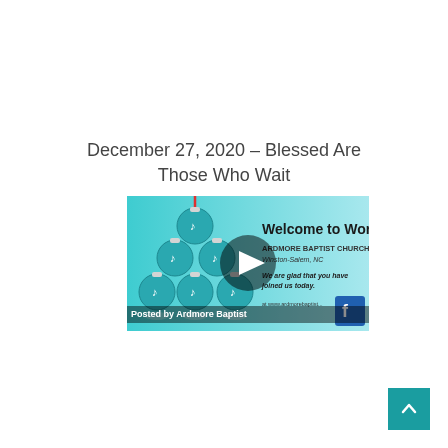December 27, 2020 – Blessed Are Those Who Wait
[Figure (screenshot): Video thumbnail showing a Welcome to Worship graphic from Ardmore Baptist Church, Winston-Salem, NC, with teal Christmas ornament decorations and a play button overlay. Caption at bottom reads 'Posted by Ardmore Baptist'.]
Posted by Ardmore Baptist